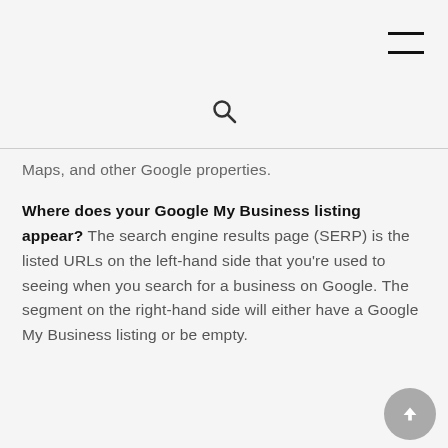[hamburger menu icon and search icon]
Maps, and other Google properties.
Where does your Google My Business listing appear? The search engine results page (SERP) is the listed URLs on the left-hand side that you're used to seeing when you search for a business on Google. The segment on the right-hand side will either have a Google My Business listing or be empty.